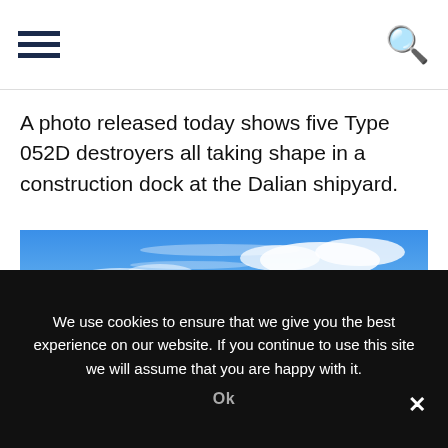Navigation menu and search icon
A photo released today shows five Type 052D destroyers all taking shape in a construction dock at the Dalian shipyard.
[Figure (photo): Photograph of a submarine on the surface of choppy ocean water with a blue sky and clouds in the background. The submarine has a dark hull with a conning tower and periscopes/masts visible.]
We use cookies to ensure that we give you the best experience on our website. If you continue to use this site we will assume that you are happy with it.
Ok